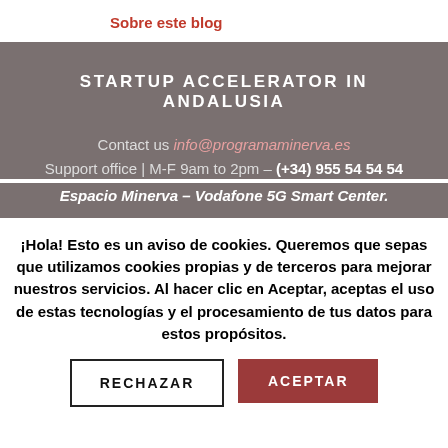Sobre este blog
STARTUP ACCELERATOR IN ANDALUSIA
Contact us info@programaminerva.es
Support office | M-F 9am to 2pm – (+34) 955 54 54 54
Espacio Minerva – Vodafone 5G Smart Center.
¡Hola! Esto es un aviso de cookies. Queremos que sepas que utilizamos cookies propias y de terceros para mejorar nuestros servicios. Al hacer clic en Aceptar, aceptas el uso de estas tecnologías y el procesamiento de tus datos para estos propósitos.
RECHAZAR
ACEPTAR